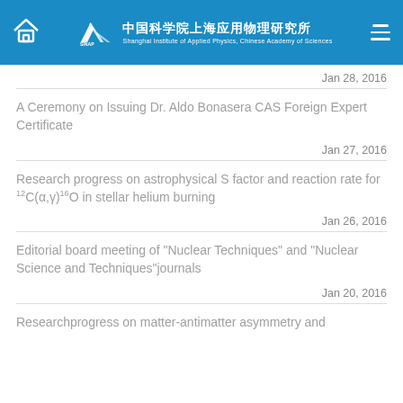SINAP - Shanghai Institute of Applied Physics, Chinese Academy of Sciences
Jan 28, 2016
A Ceremony on Issuing Dr. Aldo Bonasera CAS Foreign Expert Certificate
Jan 27, 2016
Research progress on astrophysical S factor and reaction rate for 12C(α,γ)16O in stellar helium burning
Jan 26, 2016
Editorial board meeting of "Nuclear Techniques" and "Nuclear Science and Techniques"journals
Jan 20, 2016
Researchprogress on matter-antimatter asymmetry and